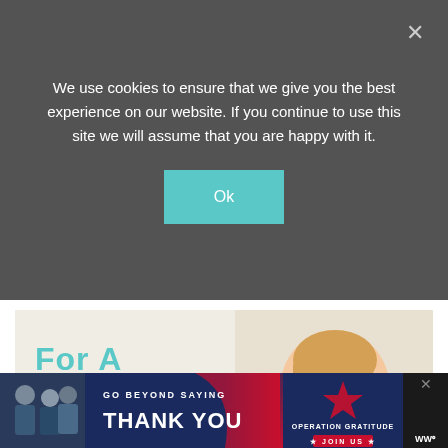We use cookies to ensure that we give you the best experience on our website. If you continue to use this site we will assume that you are happy with it.
[Figure (screenshot): Cookie consent overlay with teal 'Ok' button on dark gray background with close X button]
[Figure (illustration): Cookies for Kids Cancer advertisement with green circle logo, teal text 'For A CURE So can you!', photo of smiling girl holding cookies, and caption 'Haldora, 11 Cancer Survivor']
[Figure (illustration): Operation Gratitude banner ad: 'GO BEYOND SAYING THANK YOU' with JOIN US button and Weathernation logo on dark background]